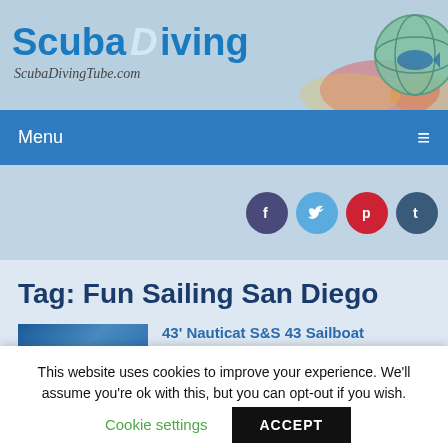[Figure (logo): ScubaDiving ScubaDivingTube.com header banner with diver silhouettes and coral reef imagery, plus circular globe logo icon on the right]
Menu ≡
[Figure (infographic): Social media icons: Facebook (dark blue circle, f), Twitter (light blue circle, bird), Pinterest (red circle, p), Tumblr (dark blue circle, t)]
Tag: Fun Sailing San Diego
43' Nauticat S&S 43 Sailboat
This website uses cookies to improve your experience. We'll assume you're ok with this, but you can opt-out if you wish.
Cookie settings   ACCEPT